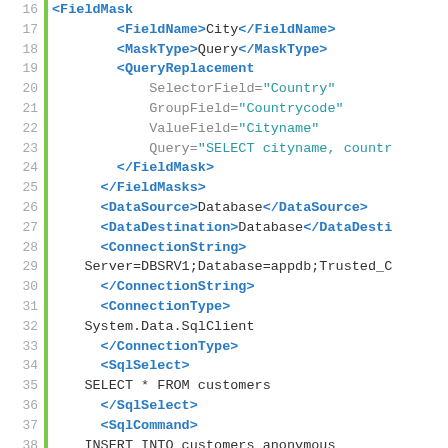Code listing showing XML configuration and SQL commands, lines 16-41